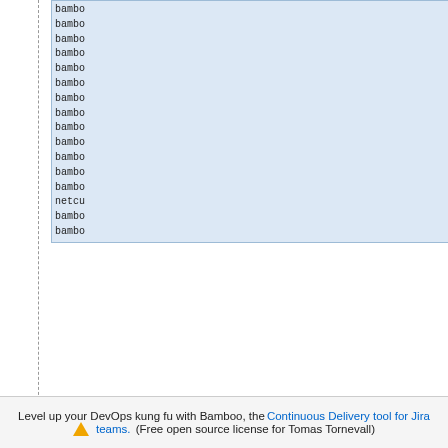[Figure (screenshot): Partial view of a scrollable log/package list box with light blue background showing lines starting with 'bambo' and 'netcu', cropped on the right]
28-Sep-2021 06:00:10   Loading
28-Sep-2021 06:00:10   Warning
                        You shou
28-Sep-2021 06:00:10   Updating
28-Sep-2021 06:00:29   Package
28-Sep-2021 06:00:29     - Inst
28-Sep-2021 06:00:30     - Inst
28-Sep-2021 06:00:30     - Inst
28-Sep-2021 06:00:30     - Inst
28-Sep-2021 06:00:30     - Inst
28-Sep-2021 06:00:31     - Inst
28-Sep-2021 06:00:31     - Inst
28-Sep-2021 06:00:32   Writing
28-Sep-2021 06:00:32   Generati
28-Sep-2021 06:00:32   Finished
28-Sep-2021 06:00:32   Starting
28-Sep-2021 06:00:32
Level up your DevOps kung fu with Bamboo, the Continuous Delivery tool for Jira teams. (Free open source license for Tomas Tornevall)